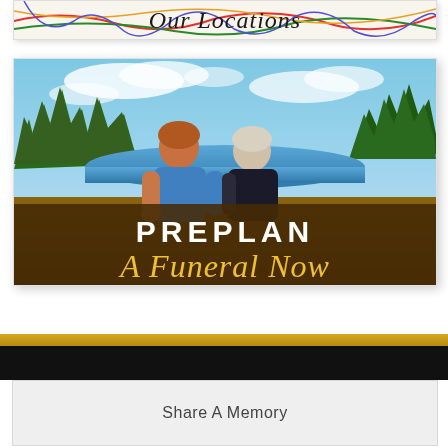[Figure (illustration): Decorative banner image with cursive script reading 'Our Locations' over a colorful map background with route lines]
[Figure (photo): Two people (younger and older, seen from behind) sitting together outdoors near a lake with trees and sky. Overlaid text reads 'PREPLAN A Funeral Now' in white bold and gold script.]
Share A Memory